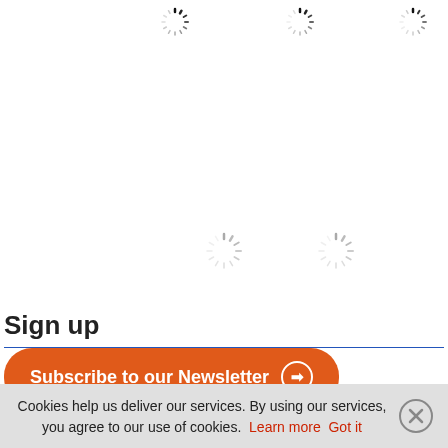[Figure (screenshot): Six loading spinner icons arranged in two rows at the top of the page — four in the first row, two in the second row centered]
Sign up
[Figure (screenshot): Orange rounded rectangle button labeled 'Subscribe to our Newsletter' with a circled arrow icon]
Cookies help us deliver our services. By using our services, you agree to our use of cookies. Learn more  Got it